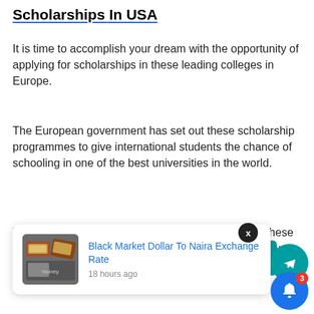Scholarships In USA
It is time to accomplish your dream with the opportunity of applying for scholarships in these leading colleges in Europe.
The European government has set out these scholarship programmes to give international students the chance of schooling in one of the best universities in the world.
You do not have to worry about favouritism issues; these scholarships are by merit, and you stand the best chance of grabbing one if you do well in their examinations.
[Figure (screenshot): Notification popup showing 'Black Market Dollar To Naira Exchange Rate, 18 hours ago' with a thumbnail image of money, overlaid on a teal channel button and a Telegram icon. A close (X) button, bell notification icon with badge 3 are also visible.]